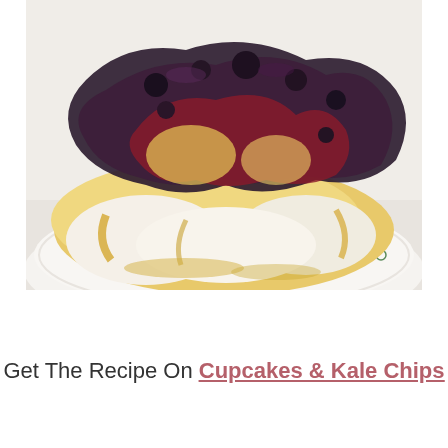[Figure (photo): Close-up photo of a baked brie or similar soft cheese on a decorative white plate with green floral pattern, topped with a dark blueberry or mixed berry compote/jam sauce, with golden melted cheese visible underneath.]
Get The Recipe On Cupcakes & Kale Chips